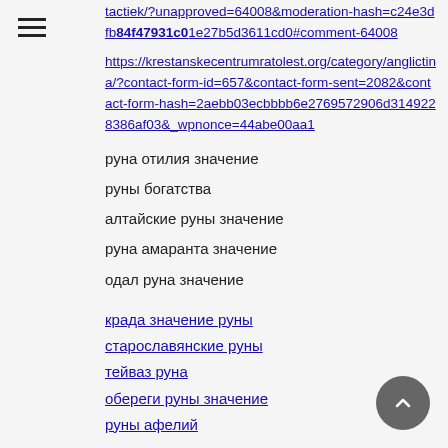tactiek/?unapproved=64008&moderation-hash=c24e3dfb84f47931c01e27b5d3611cd0#comment-64008
https://krestanskecentrumratolest.org/category/anglictina/?contact-form-id=657&contact-form-sent=2082&contact-form-hash=2aebb03ecbbbb6e2769572906d3149228386af03&_wpnonce=44abe00aa1
руна отилия значение
руны богатства
алтайские руны значение
руна амаранта значение
одал руна значение
крада значение руны
старославянские руны
тейваз руна
обереги руны значение
руны афелий